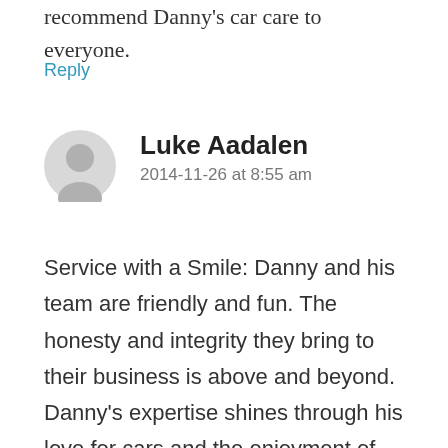recommend Danny's car care to everyone.
Reply
Luke Aadalen
2014-11-26 at 8:55 am
Service with a Smile: Danny and his team are friendly and fun. The honesty and integrity they bring to their business is above and beyond. Danny's expertise shines through his love for cars and the enjoyment of making sure everyone is safe on the road. He will never mislead you and will always be honest!